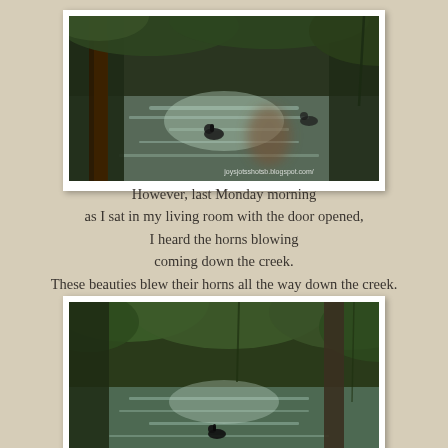[Figure (photo): Photo of a creek with geese swimming, viewed through trees and foliage. Watermark reads joysjotsshotsb.blogspot.com/]
However, last Monday morning
as I sat in my living room with the door opened,
I heard the horns blowing
coming down the creek.
These beauties blew their horns all the way down the creek.
I will remember that parade.
[Figure (photo): Second photo of the creek with geese swimming, viewed through dense green trees and foliage from a similar vantage point.]